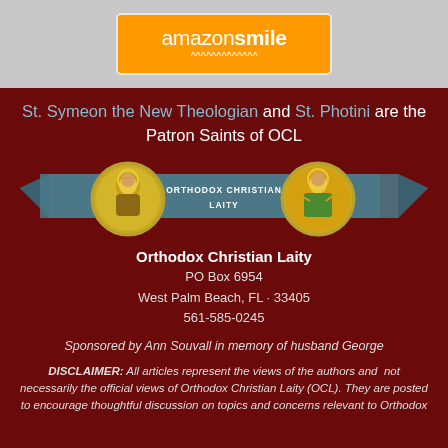[Figure (logo): Amazon Smile orange button logo with text 'amazonsmile' on orange background]
St. Symeon the New Theologian and St. Photini are the Patron Saints of OCL
[Figure (illustration): OCL banner with two circular icon images of saints (St. Symeon and St. Photini) on a teal ribbon banner with 'ORTHODOX CHRISTIAN LAITY' text in center]
Orthodox Christian Laity
PO Box 6954
West Palm Beach, FL · 33405
561-585-0245
Sponsored by Ann Souvall in memory of husband George
DISCLAIMER: All articles represent the views of the authors and not necessarily the official views of Orthodox Christian Laity (OCL). They are posted to encourage thoughtful discussion on topics and concerns relevant to Orthodox